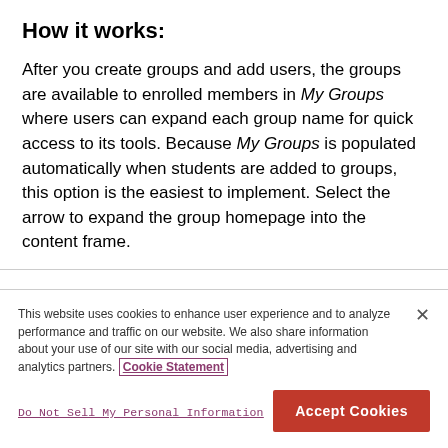How it works:
After you create groups and add users, the groups are available to enrolled members in My Groups where users can expand each group name for quick access to its tools. Because My Groups is populated automatically when students are added to groups, this option is the easiest to implement. Select the arrow to expand the group homepage into the content frame.
This website uses cookies to enhance user experience and to analyze performance and traffic on our website. We also share information about your use of our site with our social media, advertising and analytics partners. Cookie Statement
Do Not Sell My Personal Information
Accept Cookies